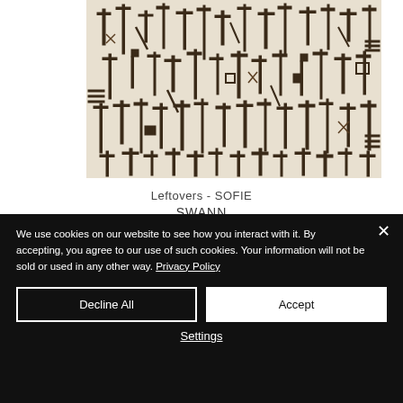[Figure (illustration): Abstract artwork featuring densely packed vertical and angular shapes — nails, crosses, geometric marks — in dark brown/black on a light beige/cream textured background. Title: Leftovers by Sofie Swann.]
Leftovers - SOFIE SWANN
We use cookies on our website to see how you interact with it. By accepting, you agree to our use of such cookies. Your information will not be sold or used in any other way. Privacy Policy
Decline All
Accept
Settings